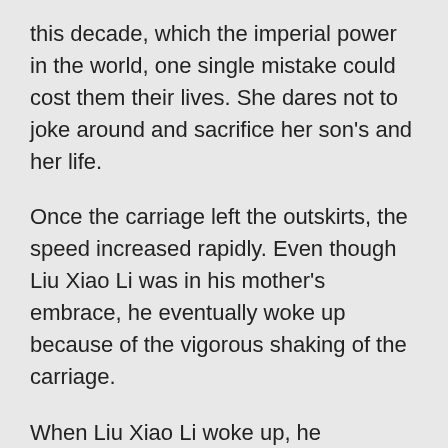this decade, which the imperial power in the world, one single mistake could cost them their lives. She dares not to joke around and sacrifice her son's and her life.
Once the carriage left the outskirts, the speed increased rapidly. Even though Liu Xiao Li was in his mother's embrace, he eventually woke up because of the vigorous shaking of the carriage.
When Liu Xiao Li woke up, he immediately met the eyes of the handsome man. He hesitated for a moment, blushed and tugged onto his mother's sleeves.
“What’s wrong?” Liu Wei peered down and